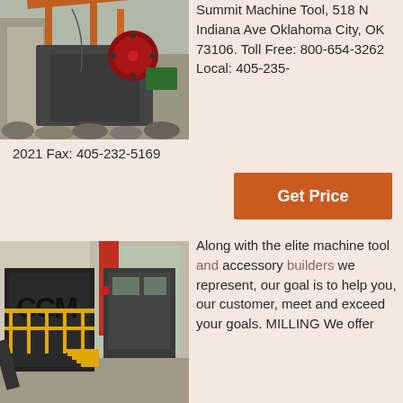[Figure (photo): Industrial jaw crusher machine at a quarry site with red flywheel and green motor visible, rocky terrain in background]
Summit Machine Tool, 518 N Indiana Ave Oklahoma City, OK 73106. Toll Free: 800-654-3262 Local: 405-235-
2021 Fax: 405-232-5169
Get Price
[Figure (photo): Large industrial CCM branded machine with black structure and yellow railings/stairs inside a warehouse]
Along with the elite machine tool and accessory builders we represent, our goal is to help you, our customer, meet and exceed your goals. MILLING We offer